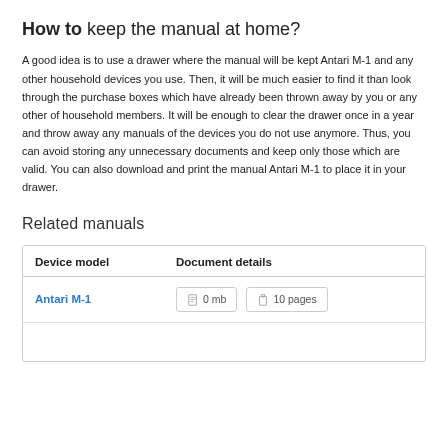How to keep the manual at home?
A good idea is to use a drawer where the manual will be kept Antari M-1 and any other household devices you use. Then, it will be much easier to find it than look through the purchase boxes which have already been thrown away by you or any other of household members. It will be enough to clear the drawer once in a year and throw away any manuals of the devices you do not use anymore. Thus, you can avoid storing any unnecessary documents and keep only those which are valid. You can also download and print the manual Antari M-1 to place it in your drawer.
Related manuals
| Device model | Document details |
| --- | --- |
| Antari M-1 | 0 mb  10 pages |